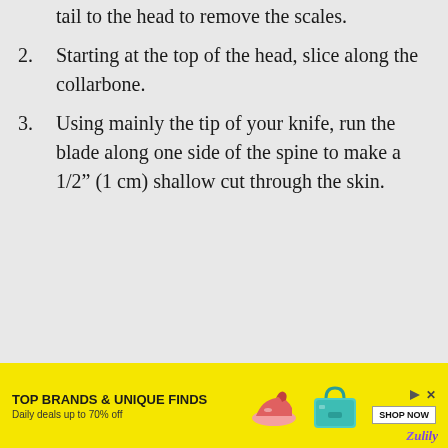tail to the head to remove the scales.
2. Starting at the top of the head, slice along the collarbone.
3. Using mainly the tip of your knife, run the blade along one side of the spine to make a 1/2” (1 cm) shallow cut through the skin.
[Figure (infographic): Advertisement banner for Zulily: TOP BRANDS & UNIQUE FINDS, Daily deals up to 70% off, with images of a shoe and a handbag, and a SHOP NOW button.]